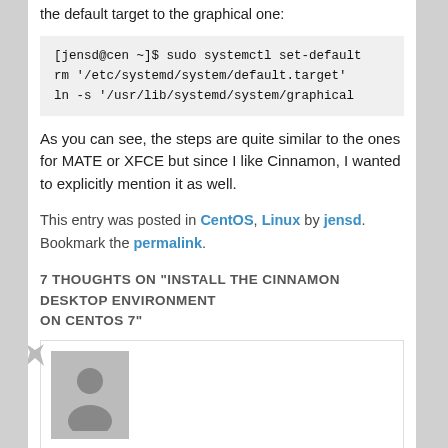the default target to the graphical one:
[Figure (screenshot): Code block showing terminal commands: [jensd@cen ~]$ sudo systemctl set-default ..., rm '/etc/systemd/system/default.target', ln -s '/usr/lib/systemd/system/graphical...]
As you can see, the steps are quite similar to the ones for MATE or XFCE but since I like Cinnamon, I wanted to explicitly mention it as well.
This entry was posted in CentOS, Linux by jensd. Bookmark the permalink.
7 THOUGHTS ON "INSTALL THE CINNAMON DESKTOP ENVIRONMENT ON CENTOS 7"
[Figure (photo): User avatar placeholder image showing a generic person silhouette in grey]